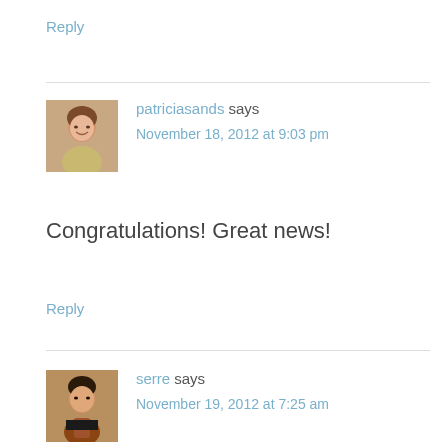Reply
[Figure (photo): Profile photo of patriciasands, woman with short brown hair]
patriciasands says
November 18, 2012 at 9:03 pm
Congratulations! Great news!
Reply
[Figure (photo): Profile photo of serre, person with dark hair holding a guitar]
serre says
November 19, 2012 at 7:25 am